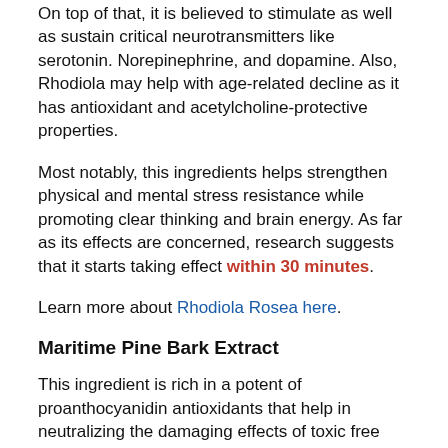On top of that, it is believed to stimulate as well as sustain critical neurotransmitters like serotonin. Norepinephrine, and dopamine. Also, Rhodiola may help with age-related decline as it has antioxidant and acetylcholine-protective properties.
Most notably, this ingredients helps strengthen physical and mental stress resistance while promoting clear thinking and brain energy. As far as its effects are concerned, research suggests that it starts taking effect within 30 minutes.
Learn more about Rhodiola Rosea here.
Maritime Pine Bark Extract
This ingredient is rich in a potent of proanthocyanidin antioxidants that help in neutralizing the damaging effects of toxic free radicals. Also, the extract has been shown to help reverse age-related cognitive decline and enhance mental energy.
The extract further signals for the release of Nitric